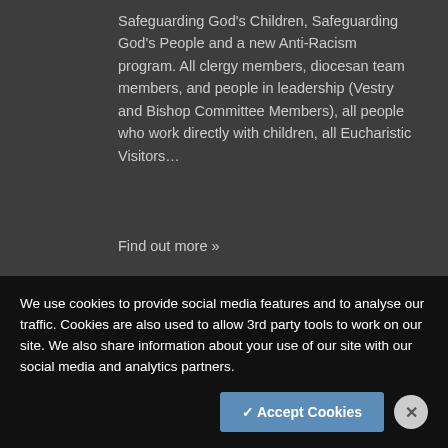Safeguarding God's Children, Safeguarding God's People and a new Anti-Racism program. All clergy members, diocesan team members, and people in leadership (Vestry and Bishop Committee Members), all people who work directly with children, all Eucharistic Visitors…
Find out more »
Safeguarding God's Children
We use cookies to provide social media features and to analyse our traffic. Cookies are also used to allow 3rd party tools to work on our site. We also share information about your use of our site with our social media and analytics partners.